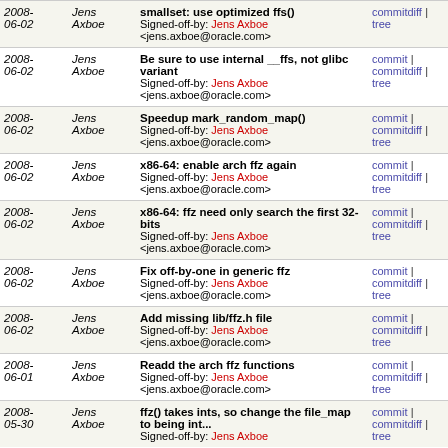| Date | Author | Commit | Links |
| --- | --- | --- | --- |
| 2008-06-02 | Jens Axboe | Be sure to use internal __ffs, not glibc variant
Signed-off-by: Jens Axboe <jens.axboe@oracle.com> | commit | commitdiff | tree |
| 2008-06-02 | Jens Axboe | Speedup mark_random_map()
Signed-off-by: Jens Axboe <jens.axboe@oracle.com> | commit | commitdiff | tree |
| 2008-06-02 | Jens Axboe | x86-64: enable arch ffz again
Signed-off-by: Jens Axboe <jens.axboe@oracle.com> | commit | commitdiff | tree |
| 2008-06-02 | Jens Axboe | x86-64: ffz need only search the first 32-bits
Signed-off-by: Jens Axboe <jens.axboe@oracle.com> | commit | commitdiff | tree |
| 2008-06-02 | Jens Axboe | Fix off-by-one in generic ffz
Signed-off-by: Jens Axboe <jens.axboe@oracle.com> | commit | commitdiff | tree |
| 2008-06-02 | Jens Axboe | Add missing lib/ffz.h file
Signed-off-by: Jens Axboe <jens.axboe@oracle.com> | commit | commitdiff | tree |
| 2008-06-01 | Jens Axboe | Readd the arch ffz functions
Signed-off-by: Jens Axboe <jens.axboe@oracle.com> | commit | commitdiff | tree |
| 2008-05-30 | Jens Axboe | ffz() takes ints, so change the file_map to being int...
Signed-off-by: Jens Axboe | commit | commitdiff | tree |